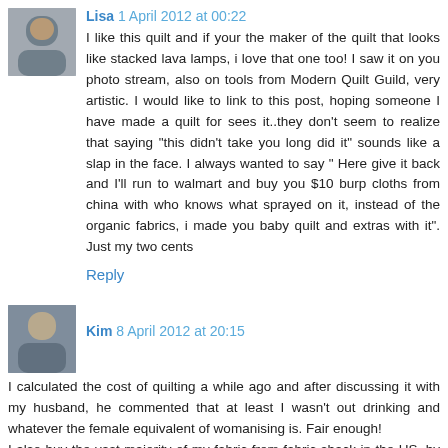Lisa 1 April 2012 at 00:22
I like this quilt and if your the maker of the quilt that looks like stacked lava lamps, i love that one too! I saw it on you photo stream, also on tools from Modern Quilt Guild, very artistic. I would like to link to this post, hoping someone I have made a quilt for sees it..they don't seem to realize that saying "this didn't take you long did it" sounds like a slap in the face. I always wanted to say " Here give it back and I'll run to walmart and buy you $10 burp cloths from china with who knows what sprayed on it, instead of the organic fabrics, i made you baby quilt and extras with it". Just my two cents
Reply
Kim 8 April 2012 at 20:15
I calculated the cost of quilting a while ago and after discussing it with my husband, he commented that at least I wasn't out drinking and whatever the female equivalent of womanising is. Fair enough!
I also buy the vast majority of my fabric from fabric shack in the US, by way of half price shipping ($3.50) and they